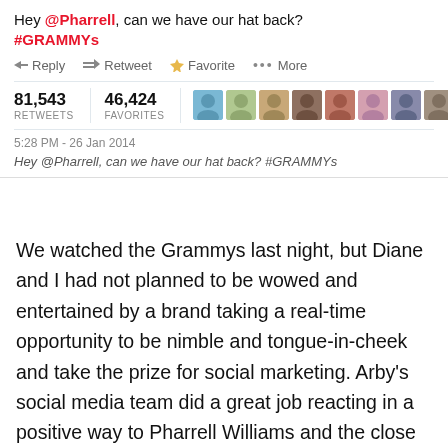[Figure (screenshot): Twitter/X tweet screenshot from Arby's account: 'Hey @Pharrell, can we have our hat back? #GRAMMYs' with Reply, Retweet, Favorite, More actions. Shows 81,543 Retweets, 46,424 Favorites, and user avatar thumbnails. Timestamp: 5:28 PM - 26 Jan 2014.]
Hey @Pharrell, can we have our hat back? #GRAMMYs
We watched the Grammys last night, but Diane and I had not planned to be wowed and entertained by a brand taking a real-time opportunity to be nimble and tongue-in-cheek and take the prize for social marketing. Arby's social media team did a great job reacting in a positive way to Pharrell Williams and the close resemblance of his hat to the Arby's brand. As of this afternoon Arby's had over 81,609 retweets 46,489 favorites with the following tweet (Hey @Pharrell, can we have our hat back?